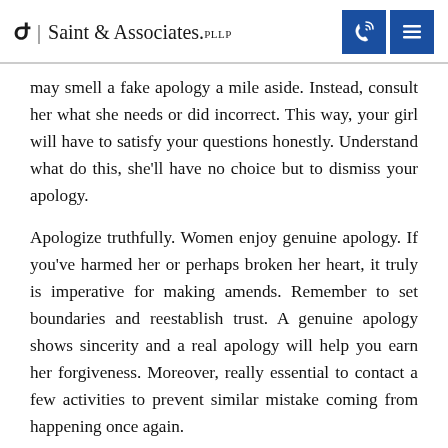Saint & Associates, PLLP
may smell a fake apology a mile aside. Instead, consult her what she needs or did incorrect. This way, your girl will have to satisfy your questions honestly. Understand what do this, she'll have no choice but to dismiss your apology.
Apologize truthfully. Women enjoy genuine apology. If you've harmed her or perhaps broken her heart, it truly is imperative for making amends. Remember to set boundaries and reestablish trust. A genuine apology shows sincerity and a real apology will help you earn her forgiveness. Moreover, really essential to contact a few activities to prevent similar mistake coming from happening once again.
Apologizing within a heartfelt manner is crucial. A girl can easily notify if you've performed something insincere or conned. Apologize quickly and immediately and do it in a way that signifies...